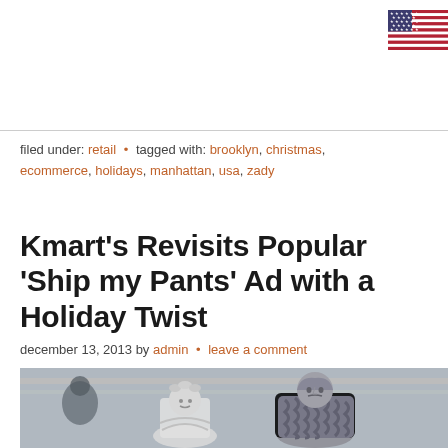[Figure (illustration): US flag icon in top right corner]
filed under: retail • tagged with: brooklyn, christmas, ecommerce, holidays, manhattan, usa, zady
Kmart's Revisits Popular 'Ship my Pants' Ad with a Holiday Twist
december 13, 2013 by admin • leave a comment
[Figure (photo): Grayscale photo of two elderly figures in a store, one dressed as a ghost/frost figure with floral headpiece, another in a heavy chain-like coat, with blurred store background]